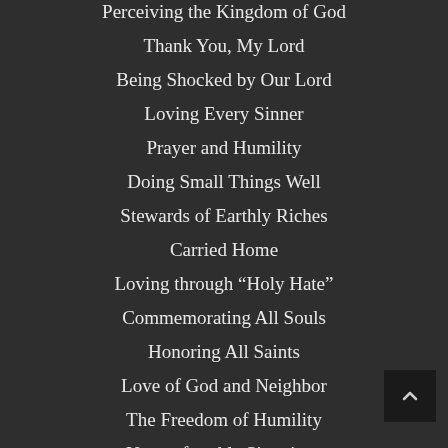Perceiving the Kingdom of God
Thank You, My Lord
Being Shocked by Our Lord
Loving Every Sinner
Prayer and Humility
Doing Small Things Well
Stewards of Earthly Riches
Carried Home
Loving through “Holy Hate”
Commemorating All Souls
Honoring All Saints
Love of God and Neighbor
The Freedom of Humility
Uncomfortable Situations
Sent Forth by Christ